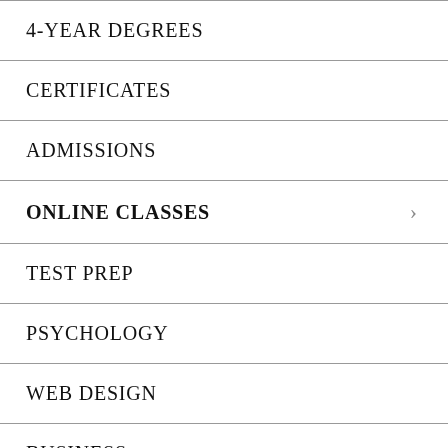4-YEAR DEGREES
CERTIFICATES
ADMISSIONS
ONLINE CLASSES
TEST PREP
PSYCHOLOGY
WEB DESIGN
BUSINESS